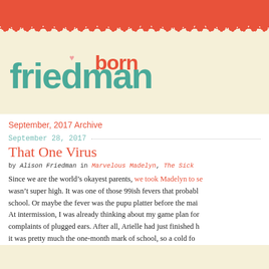[Figure (illustration): Coral/red scalloped decorative header banner with white dot trim on scalloped edge]
born friedman
September, 2017 Archive
September 28, 2017
That One Virus
by Alison Friedman in Marvelous Madelyn, The Sick
Since we are the world's okayest parents, we took Madelyn to se... wasn't super high. It was one of those 99ish fevers that probabl... school. Or maybe the fever was the pupu platter before the mai... At intermission, I was already thinking about my game plan for... complaints of plugged ears. After all, Arielle had just finished h... it was pretty much the one-month mark of school, so a cold fo...